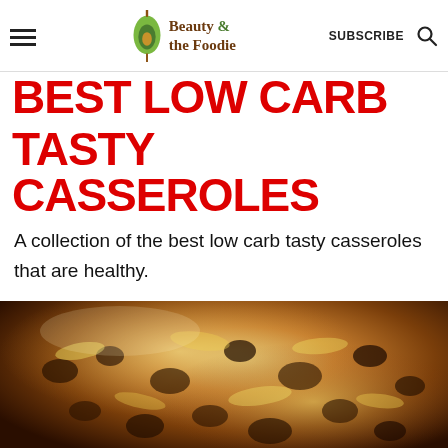Beauty & the Foodie — SUBSCRIBE
BEST LOW CARB TASTY CASSEROLES
A collection of the best low carb tasty casseroles that are healthy.
[Figure (photo): Close-up photo of a cheesy casserole dish with mushrooms, browned and bubbling cheese on top, in a baking dish.]